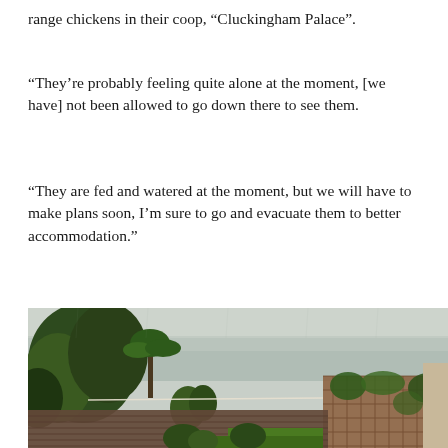range chickens in their coop, “Cluckingham Palace”.
“They’re probably feeling quite alone at the moment, [we have] not been allowed to go down there to see them.
“They are fed and watered at the moment, but we will have to make plans soon, I’m sure to go and evacuate them to better accommodation.”
[Figure (photo): Outdoor garden/deck scene on a rainy, overcast day. View from an elevated patio with wet wooden decking, tropical and leafy green trees on the left, a lattice/trellis fence on the right covered in ivy, and a grey misty ocean or large body of water visible in the background under a pale grey sky.]